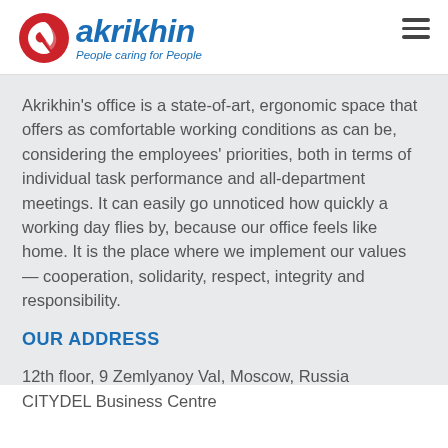akrikhin — People caring for People
Akrikhin's office is a state-of-art, ergonomic space that offers as comfortable working conditions as can be, considering the employees' priorities, both in terms of individual task performance and all-department meetings. It can easily go unnoticed how quickly a working day flies by, because our office feels like home. It is the place where we implement our values — cooperation, solidarity, respect, integrity and responsibility.
OUR ADDRESS
12th floor, 9 Zemlyanoy Val, Moscow, Russia
CITYDEL Business Centre